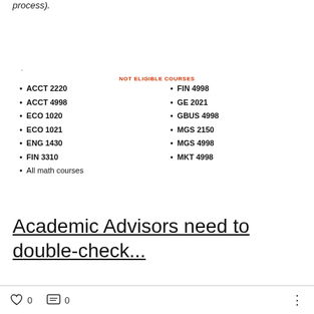process).
NOT ELIGIBLE COURSES
ACCT 2220
ACCT 4998
ECO 1020
ECO 1021
ENG 1430
FIN 3310
All math courses
FIN 4998
GE 2021
GBUS 4998
MGS 2150
MGS 4998
MKT 4998
Academic Advisors need to double-check...